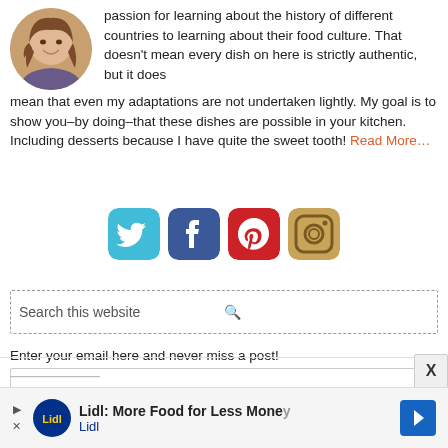[Figure (photo): Circular portrait photo of a smiling woman with curly hair]
passion for learning about the history of different countries to learning about their food culture. That doesn't mean every dish on here is strictly authentic, but it does mean that even my adaptations are not undertaken lightly. My goal is to show you–by doing–that these dishes are possible in your kitchen. Including desserts because I have quite the sweet tooth! Read More…
[Figure (infographic): Four social media icons: Twitter (teal), Facebook (blue), Pinterest (red), Instagram (gradient)]
Search this website
Enter your email here and never miss a post!
Subscribe me! »
Lidl: More Food for Less Money Lidl